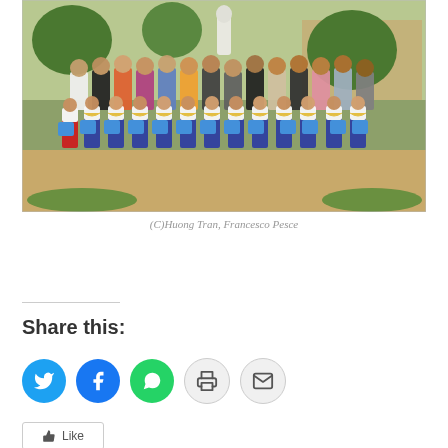[Figure (photo): Group photo of schoolchildren in white uniforms with yellow scarves holding blue gift bags, along with adult teachers/parents, standing outdoors in front of a garden with a statue and trees.]
(C)Huong Tran, Francesco Pesce
Share this:
Like